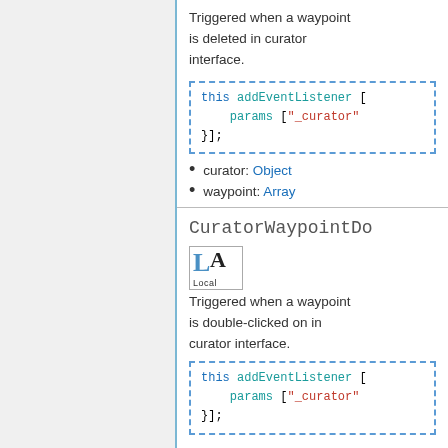Triggered when a waypoint is deleted in curator interface.
[Figure (screenshot): Code box with dashed blue border showing: this addEventListener [ params ["_curator" }];]
curator: Object
waypoint: Array
CuratorWaypointDo
[Figure (illustration): LA Local badge icon]
Triggered when a waypoint is double-clicked on in curator interface.
[Figure (screenshot): Code box with dashed blue border showing: this addEventListener [ params ["_curator" }];]